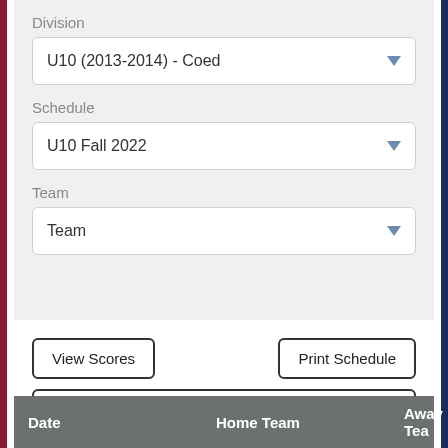Division
U10 (2013-2014) - Coed
Schedule
U10 Fall 2022
Team
Team
View Scores
Print Schedule
View Standings
| Date | Home Team | Away Tea |
| --- | --- | --- |